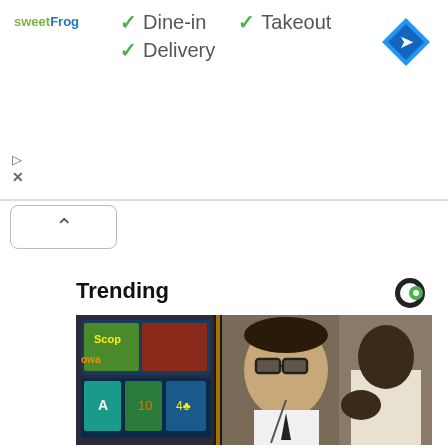[Figure (screenshot): SweetFrog ad banner showing Dine-in, Takeout, and Delivery checkmark options with a blue navigation diamond icon in the top right]
[Figure (screenshot): Collapse/hide arrow button (chevron up) in a rounded rectangle]
Trending
[Figure (photo): Photo of a man with glasses and a lanyard standing in front of a slot machine in a casino]
Security Tells Slot Machine Bar Sho...